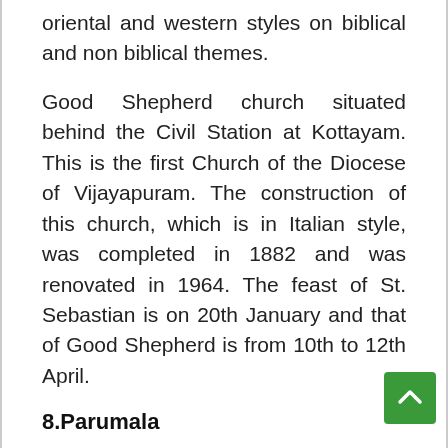oriental and western styles on biblical and non biblical themes.
Good Shepherd church situated behind the Civil Station at Kottayam. This is the first Church of the Diocese of Vijayapuram. The construction of this church, which is in Italian style, was completed in 1882 and was renovated in 1964. The feast of St. Sebastian is on 20th January and that of Good Shepherd is from 10th to 12th April.
8.Parumala
Parumala is a small stretch of land on